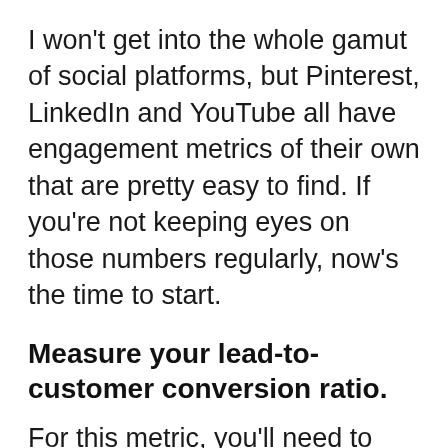I won't get into the whole gamut of social platforms, but Pinterest, LinkedIn and YouTube all have engagement metrics of their own that are pretty easy to find. If you're not keeping eyes on those numbers regularly, now's the time to start.
Measure your lead-to-customer conversion ratio.
For this metric, you'll need to dive into your analytics and segment your sources of traffic. You can check each source against the goal you set up earlier, which will allow you to gauge exactly how much business you're driving from each social media channel, organic SEO, link referrals, and